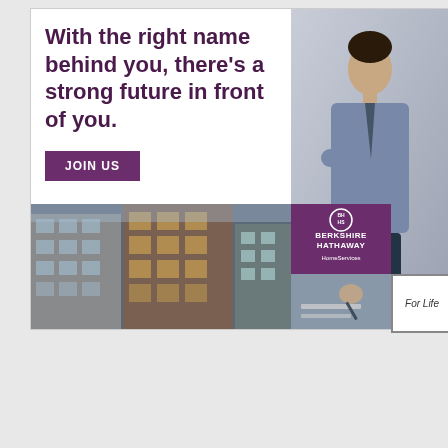[Figure (infographic): Berkshire Hathaway HomeServices advertisement. Left side has headline text 'With the right name behind you, there's a strong future in front of you.' with a 'JOIN US' button. Right side shows a man in a dress shirt. Bottom section shows urban building photos alongside the Berkshire Hathaway HomeServices logo and 'For Life' branding.]
[Figure (infographic): RISMedia Real Estate magazine cover with a woman on the cover, alongside text 'Berkshire Hathaway HomeServices' and a white sub-box with 'COVER STORY' label.]